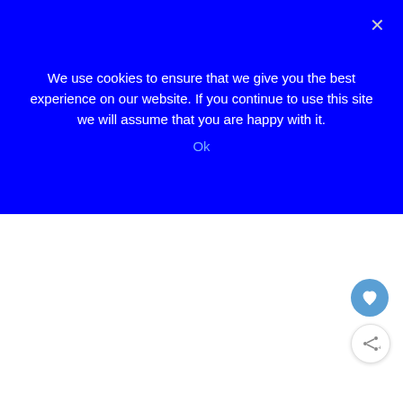We use cookies to ensure that we give you the best experience on our website. If you continue to use this site we will assume that you are happy with it.
Ok
doctor in the BBC TV series. From here, the views back over the village and the jagged coastline were lovely.
[Figure (photo): Image placeholder area, light beige/white background rectangle representing a photo]